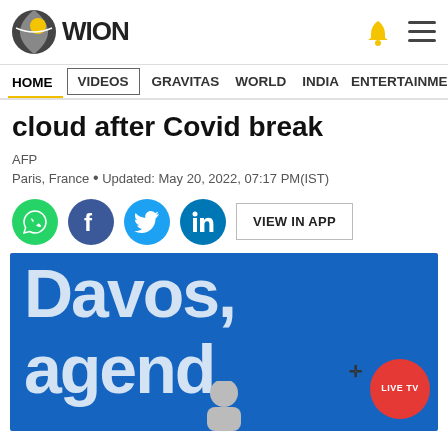WION
HOME | VIDEOS | GRAVITAS | WORLD | INDIA | ENTERTAINMENT | SPORTS
cloud after Covid break
AFP
Paris, France • Updated: May 20, 2022, 07:17 PM(IST)
[Figure (screenshot): Social share buttons: WhatsApp, Facebook, Twitter, LinkedIn, and VIEW IN APP button]
[Figure (photo): Photo showing a Davos agenda sign in blue with large white text reading 'Davos agenda', a LIVE TV red circular button overlay, and a person visible at the bottom]